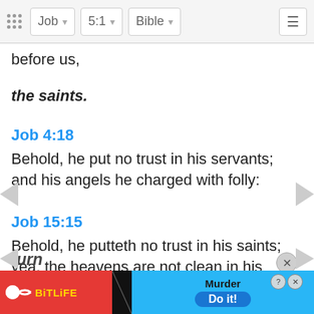Job 5:1 Bible
before us,
the saints.
Job 4:18
Behold, he put no trust in his servants; and his angels he charged with folly:
Job 15:15
Behold, he putteth no trust in his saints; yea, the heavens are not clean in his sight.
Deuteronomy 33:2,3
And he said, The LORD came from Sinai, and rose up from Seir unto them; he shined forth from mount Paran, and he came with ten thousands of saints: from
turn